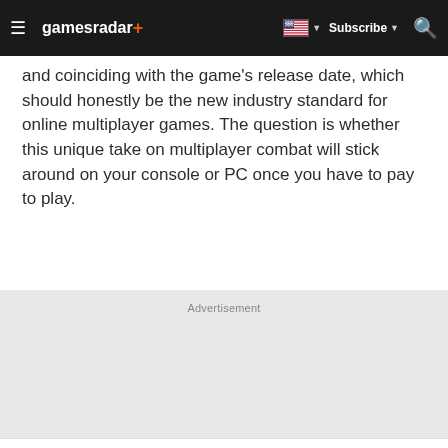gamesradar+ | Subscribe | Search
and coinciding with the game's release date, which should honestly be the new industry standard for online multiplayer games. The question is whether this unique take on multiplayer combat will stick around on your console or PC once you have to pay to play.
Advertisement